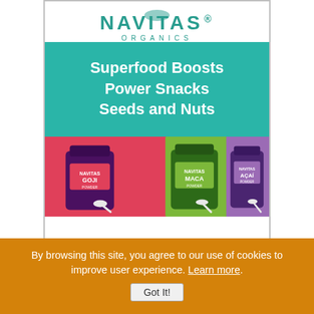[Figure (logo): Navitas Organics logo in teal color with registered trademark symbol]
[Figure (infographic): Teal background section with white text listing: Superfood Boosts, Power Snacks, Seeds and Nuts]
[Figure (photo): Three Navitas Organics product bags on pink, green, and purple backgrounds: Goji, Maca, and Acai powders]
By browsing this site, you agree to our use of cookies to improve user experience. Learn more.
Got It!